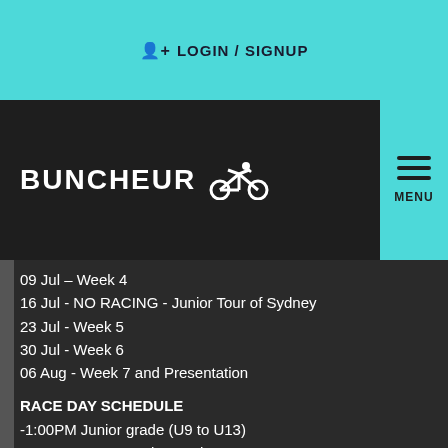LOGIN / SIGNUP
BUNCHEUR
05 Jul – Week 2
09 Jul – Week 4
16 Jul - NO RACING - Junior Tour of Sydney
23 Jul - Week 5
30 Jul - Week 6
06 Aug - Week 7 and Presentation
RACE DAY SCHEDULE
-1:00PM Junior grade (U9 to U13)
-2:00PM start C and D grade (men/women/u15-u17 combined)
-3:00PM start A and B grade (men/women/u15-u17 combined)
Please arrive 30mins before your respective race.